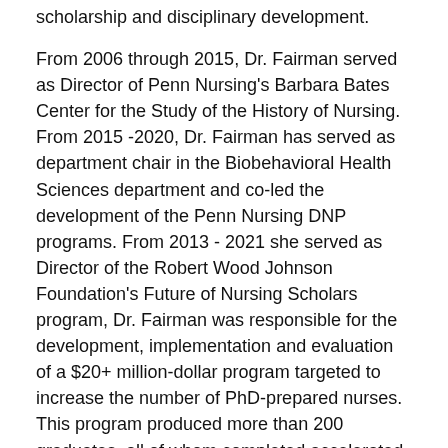scholarship and disciplinary development.
From 2006 through 2015, Dr. Fairman served as Director of Penn Nursing's Barbara Bates Center for the Study of the History of Nursing. From 2015 -2020, Dr. Fairman has served as department chair in the Biobehavioral Health Sciences department and co-led the development of the Penn Nursing DNP programs. From 2013 - 2021 she served as Director of the Robert Wood Johnson Foundation's Future of Nursing Scholars program, Dr. Fairman was responsible for the development, implementation and evaluation of a $20+ million-dollar program targeted to increase the number of PhD-prepared nurses. This program produced more than 200 graduates, all of whom completed accelerated doctoral programs.
Dr. Fairman has received many awards for teaching, including the Christian R. and Mary F. Lindback Award. An alumnus of the RWJF Investigator in Health Policy Program, Dr. Fairman is one of only three nurses to